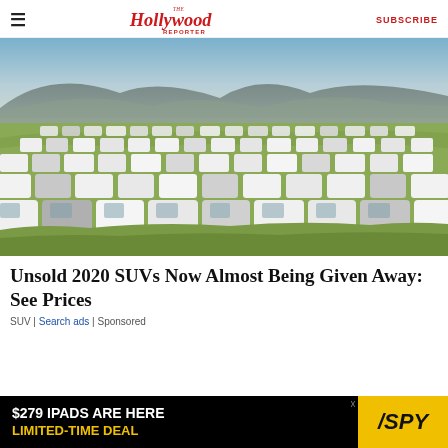The Hollywood Reporter | SUBSCRIBE
[Figure (photo): Aerial view of a large field filled with rows of unsold white SUVs and trucks parked in grassy terrain with mountains in the background]
Unsold 2020 SUVs Now Almost Being Given Away: See Prices
SUV | Search ads | Sponsored
[Figure (infographic): Advertisement banner: $279 IPADS ARE HERE LIMITED-TIME DEAL with SPY logo on yellow background]